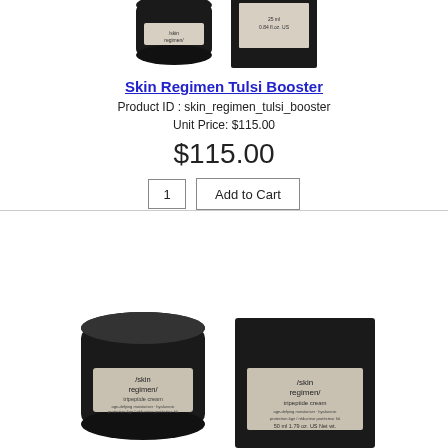[Figure (photo): Two dark product containers (jar and box) for Skin Regimen Tulsi Booster, partially visible at top of page]
Skin Regimen Tulsi Booster
Product ID : skin_regimen_tulsi_booster
Unit Price: $115.00
$115.00
1   Add to Cart
[Figure (photo): Two dark product containers (round jar and rectangular box) for Skin Regimen Tripeptide Cream, 50ml / 1.79 oz US Net wt.]